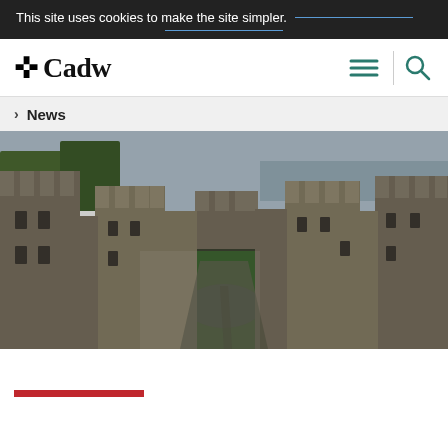This site uses cookies to make the site simpler.
[Figure (logo): Cadw logo with celtic cross icon and serif wordmark]
News
[Figure (photo): Aerial view of a Welsh castle courtyard (Pembroke Castle) showing stone towers, battlements, green lawn, circular stone feature, and water in background]
[Figure (other): Red horizontal bar at bottom of page, partially visible]